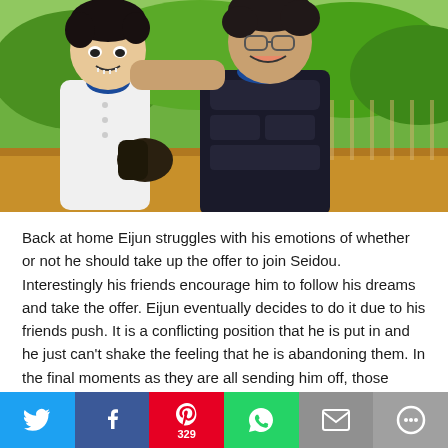[Figure (illustration): Anime illustration of two baseball players in white uniforms with blue accents. Left character has dark hair and an intense expression, wearing a baseball glove. Right character has dark hair with glasses and a cheerful expression, wearing catcher's chest armor. Green outdoor background.]
Back at home Eijun struggles with his emotions of whether or not he should take up the offer to join Seidou. Interestingly his friends encourage him to follow his dreams and take the offer. Eijun eventually decides to do it due to his friends push. It is a conflicting position that he is put in and he just can't shake the feeling that he is abandoning them. In the final moments as they are all sending him off, those feelings are confirmed. They know they are only holding him back, but still a part of them wishes they could keep on playing